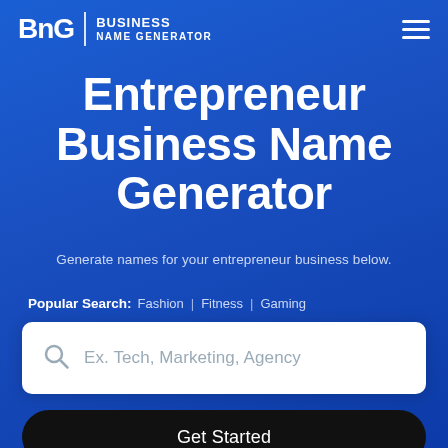[Figure (logo): BNG Business Name Generator logo with white text on blue background and hamburger menu icon]
Entrepreneur Business Name Generator
Generate names for your entrepreneur business below.
Popular Search: Fashion | Fitness | Gaming
[Figure (screenshot): Search input box with magnifying glass icon and placeholder text 'Ex. Tech, Marketing, Agency']
Get Started
By searching we check domain availability